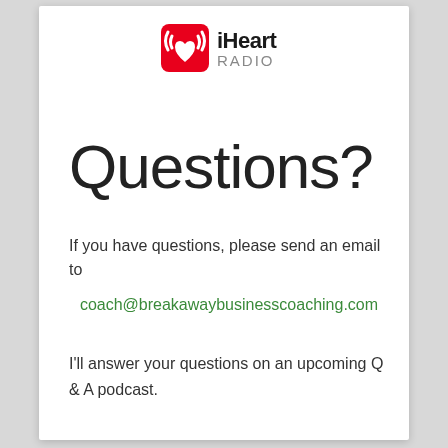[Figure (logo): iHeartRadio logo with red heart icon and signal waves, black 'iHeart' text and grey 'RADIO' text]
Questions?
If you have questions, please send an email to
coach@breakawaybusinesscoaching.com
I'll answer your questions on an upcoming Q & A podcast.